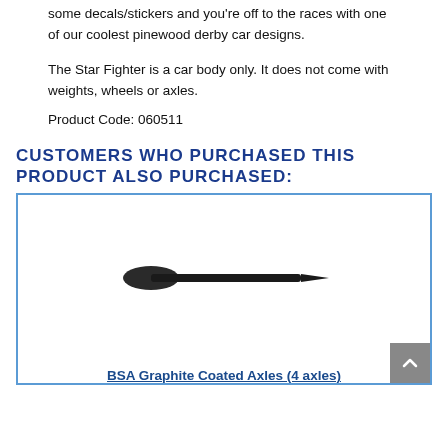some decals/stickers and you're off to the races with one of our coolest pinewood derby car designs.
The Star Fighter is a car body only. It does not come with weights, wheels or axles.
Product Code: 060511
CUSTOMERS WHO PURCHASED THIS PRODUCT ALSO PURCHASED:
[Figure (photo): Photo of a BSA graphite coated axle nail against white background]
BSA Graphite Coated Axles (4 axles)